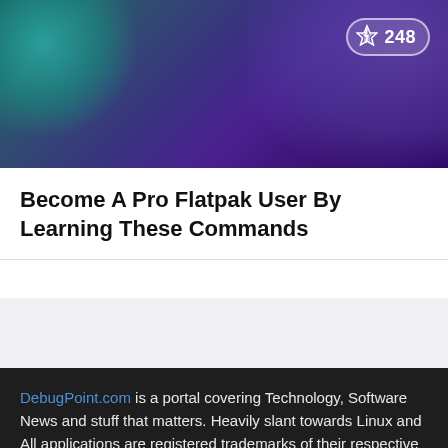[Figure (illustration): Dark purple and teal decorative header banner with a badge showing a lightning bolt icon and the number 248]
Become A Pro Flatpak User By Learning These Commands
DebugPoint.com is a portal covering Technology, Software News and stuff that matters. Heavily slant towards Linux and Open Source.
All applications are registered trademarks of their respective owners. Icons and Logos are used for